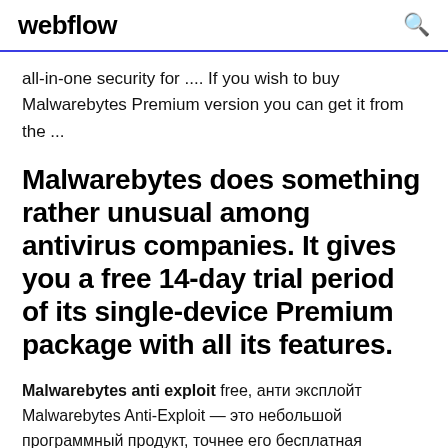webflow
all-in-one security for .... If you wish to buy Malwarebytes Premium version you can get it from the ...
Malwarebytes does something rather unusual among antivirus companies. It gives you a free 14-day trial period of its single-device Premium package with all its features.
Malwarebytes anti exploit free, анти эксплойт Malwarebytes Anti-Exploit — это небольшой программный продукт, точнее его бесплатная